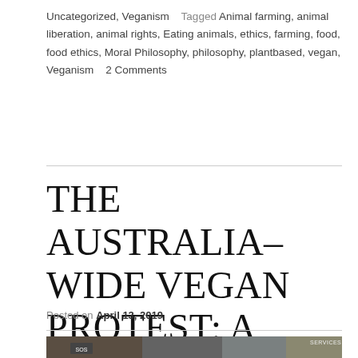Uncategorized, Veganism   Tagged Animal farming, animal liberation, animal rights, Eating animals, ethics, farming, food, food ethics, Moral Philosophy, philosophy, plantbased, vegan, Veganism   2 Comments
THE AUSTRALIA-WIDE VEGAN PROTEST: A REFLECTION ON THE DIFFERENT RESPONSES
Posted on April 13, 2019
[Figure (photo): A protest scene showing people holding signs, partially visible at the bottom of the page. Text 'SERVICES' visible on a sign in the upper right.]